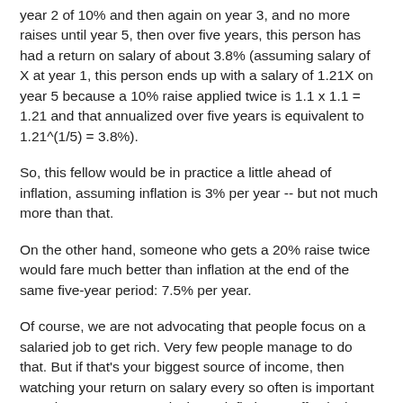year 2 of 10% and then again on year 3, and no more raises until year 5, then over five years, this person has had a return on salary of about 3.8% (assuming salary of X at year 1, this person ends up with a salary of 1.21X on year 5 because a 10% raise applied twice is 1.1 x 1.1 = 1.21 and that annualized over five years is equivalent to 1.21^(1/5) = 3.8%).
So, this fellow would be in practice a little ahead of inflation, assuming inflation is 3% per year -- but not much more than that.
On the other hand, someone who gets a 20% raise twice would fare much better than inflation at the end of the same five-year period: 7.5% per year.
Of course, we are not advocating that people focus on a salaried job to get rich. Very few people manage to do that. But if that's your biggest source of income, then watching your return on salary every so often is important to make sure you're not losing to inflation or effectively staying behind on pay given your added responsibilities as you progress in